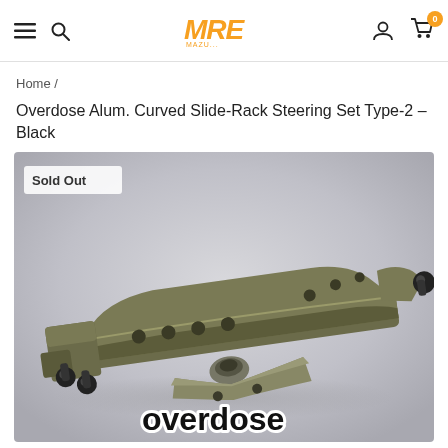MRE (logo) | Home navigation with hamburger, search, user, cart (0)
Home /
Overdose Alum. Curved Slide-Rack Steering Set Type-2 – Black
[Figure (photo): 3D render of an Overdose aluminum curved slide-rack steering set in black/dark olive finish. The part features multiple adjustment holes along its length with ball-end connectors on each side and a central pivot mount. A 'Sold Out' badge is shown in the upper left corner. The Overdose brand logo appears in the lower right.]